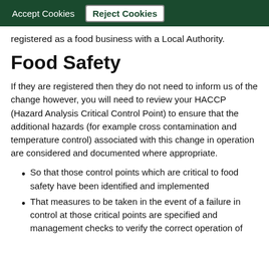Accept Cookies   Reject Cookies
registered as a food business with a Local Authority.
Food Safety
If they are registered then they do not need to inform us of the change however, you will need to review your HACCP (Hazard Analysis Critical Control Point) to ensure that the additional hazards (for example cross contamination and temperature control) associated with this change in operation are considered and documented where appropriate.
So that those control points which are critical to food safety have been identified and implemented
That measures to be taken in the event of a failure in control at those critical points are specified and management checks to verify the correct operation of